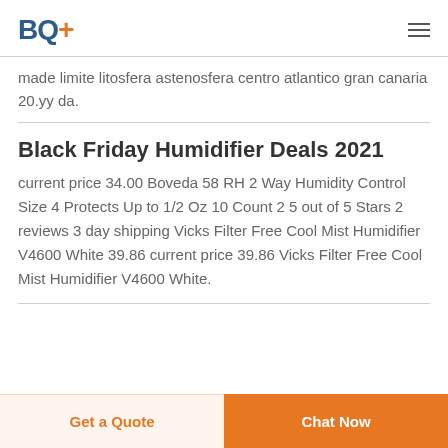BQ+
made limite litosfera astenosfera centro atlantico gran canaria 20.yy da.
Black Friday Humidifier Deals 2021
current price 34.00 Boveda 58 RH 2 Way Humidity Control Size 4 Protects Up to 1/2 Oz 10 Count 2 5 out of 5 Stars 2 reviews 3 day shipping Vicks Filter Free Cool Mist Humidifier V4600 White 39.86 current price 39.86 Vicks Filter Free Cool Mist Humidifier V4600 White.
Get a Quote | Chat Now